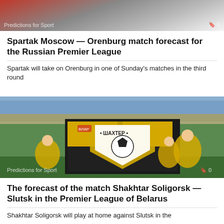[Figure (photo): Soccer players in action, photo for sports predictions article]
Spartak Moscow — Orenburg match forecast for the Russian Premier League
Spartak will take on Orenburg in one of Sunday's matches in the third round
[Figure (photo): Children holding a Shakhtar Soligorsk banner on a soccer field, crowd in background]
The forecast of the match Shakhtar Soligorsk — Slutsk in the Premier League of Belarus
Shakhtar Soligorsk will play at home against Slutsk in the